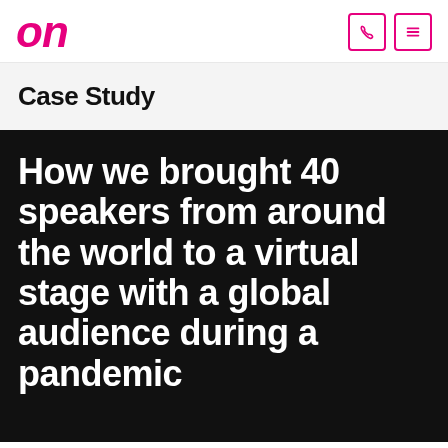on
Case Study
[Figure (illustration): Black background section with large white bold headline text: 'How we brought 40 speakers from around the world to a virtual stage with a global audience during a pandemic']